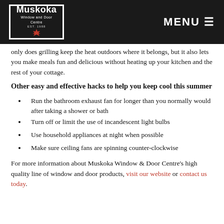Muskoka Window and Door Centre — MENU
only does grilling keep the heat outdoors where it belongs, but it also lets you make meals fun and delicious without heating up your kitchen and the rest of your cottage.
Other easy and effective hacks to help you keep cool this summer
Run the bathroom exhaust fan for longer than you normally would after taking a shower or bath
Turn off or limit the use of incandescent light bulbs
Use household appliances at night when possible
Make sure ceiling fans are spinning counter-clockwise
For more information about Muskoka Window & Door Centre's high quality line of window and door products, visit our website or contact us today.